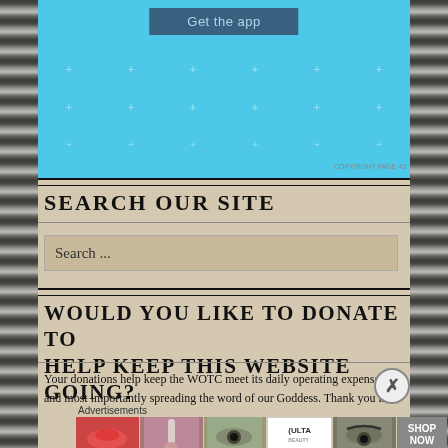[Figure (screenshot): Sky blue banner with 'Get the app' button and decorative star/plus symbols]
SEARCH OUR SITE
[Figure (screenshot): Search input box with placeholder text 'Search ...']
WOULD YOU LIKE TO DONATE TO HELP KEEP THIS WEBSITE GOING?
Your donations help keep the WOTC meet its daily operating expenses and most importantly spreading the word of our Goddess. Thank you in
Advertisements
[Figure (screenshot): Ulta beauty advertisement banner with makeup images and SHOP NOW call to action]